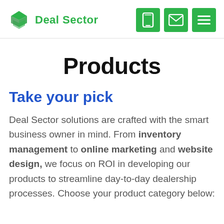Deal Sector
Products
Take your pick
Deal Sector solutions are crafted with the smart business owner in mind. From inventory management to online marketing and website design, we focus on ROI in developing our products to streamline day-to-day dealership processes. Choose your product category below: